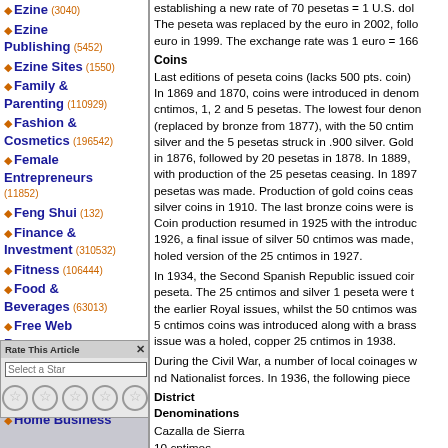Ezine (3040)
Ezine Publishing (5452)
Ezine Sites (1550)
Family & Parenting (110929)
Fashion & Cosmetics (196542)
Female Entrepreneurs (11852)
Feng Shui (132)
Finance & Investment (310532)
Fitness (106444)
Food & Beverages (63013)
Free Web Resources (7939)
Gambling (30227)
Gardening
Hobbies (44000)
Home Business
establishing a new rate of 70 pesetas = 1 U.S. dollar. The peseta was replaced by the euro in 2002, following the introduction of the euro in 1999. The exchange rate was 1 euro = 166.386 pesetas.
Coins
Last editions of peseta coins (lacks 500 pts. coin). In 1869 and 1870, coins were introduced in denominations of 1, 2 and 5 centimos, 1, 2 and 5 pesetas. The lowest four denominations were struck in copper (replaced by bronze from 1877), with the 50 cntimos and 1 peseta struck in .835 silver and the 5 pesetas struck in .900 silver. Gold coins of 10 pesetas were introduced in 1876, followed by 20 pesetas in 1878. In 1889, the gold coinage was reduced with production of the 25 pesetas ceasing. In 1897, a final issue of 100 pesetas was made. Production of gold coins ceased in 1904, followed by silver coins in 1910. The last bronze coins were issued in 1912. Coin production resumed in 1925 with the introduction of copper-nickel coins. In 1926, a final issue of silver 50 cntimos was made, followed by the introduction of a holed version of the 25 cntimos in 1927.
In 1934, the Second Spanish Republic issued coins in denominations of 25 and 50 cntimos and 1 peseta. The 25 cntimos and silver 1 peseta were the same types as the earlier Royal issues, whilst the 50 cntimos was a new type. In 1937, a copper 5 cntimos coins was introduced along with a brass 25 cntimos. The last Republican issue was a holed, copper 25 cntimos in 1938.
During the Civil War, a number of local coinages were issued by both Republican and Nationalist forces. In 1936, the following pieces were issued:
District
Denominations
Cazalla de Sierra
10 cntimos
Arahal
50 cntimos, 1, 2 pesetas
[Figure (other): Rate This Article widget with star rating selector]